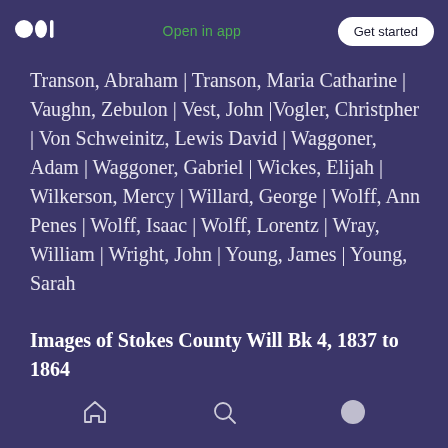Open in app | Get started
Transon, Abraham | Transon, Maria Catharine | Vaughn, Zebulon | Vest, John |Vogler, Christpher | Von Schweinitz, Lewis David | Waggoner, Adam | Waggoner, Gabriel | Wickes, Elijah | Wilkerson, Mercy | Willard, George | Wolff, Ann Penes | Wolff, Isaac | Wolff, Lorentz | Wray, William | Wright, John | Young, James | Young, Sarah
Images of Stokes County Will Bk 4, 1837 to 1864
Home | Search | Profile